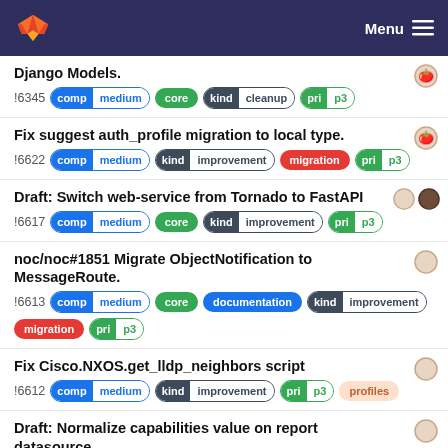Menu
Django Models.
!6345  comp medium  core  kind cleanup  pri p3
Fix suggest auth_profile migration to local type.
!6622  comp medium  kind improvement  migration  pri p3
Draft: Switch web-service from Tornado to FastAPI
!6617  comp medium  core  kind improvement  pri p3
noc/noc#1851 Migrate ObjectNotification to MessageRoute.
!6613  comp medium  core  documentation  kind improvement  migration  pri p3
Fix Cisco.NXOS.get_lldp_neighbors script
!6612  comp medium  kind improvement  pri p3  profiles
Draft: Normalize capabilities value on report datasource.